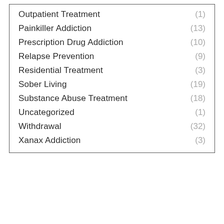Outpatient Treatment (1)
Painkiller Addiction (13)
Prescription Drug Addiction (10)
Relapse Prevention (9)
Residential Treatment (3)
Sober Living (19)
Substance Abuse Treatment (18)
Uncategorized (1)
Withdrawal (32)
Xanax Addiction (3)